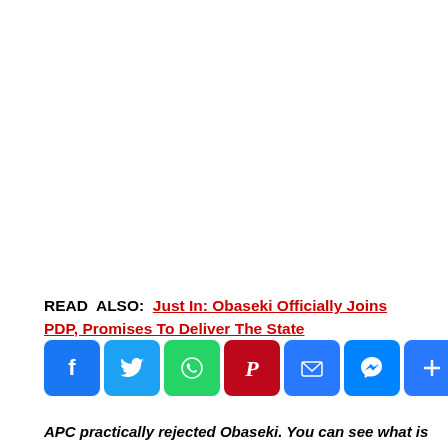READ ALSO: Just In: Obaseki Officially Joins PDP, Promises To Deliver The State
[Figure (other): Social media sharing buttons: Facebook, Twitter, WhatsApp, Pinterest, Email, Messenger, Share]
APC practically rejected Obaseki. You can see what is